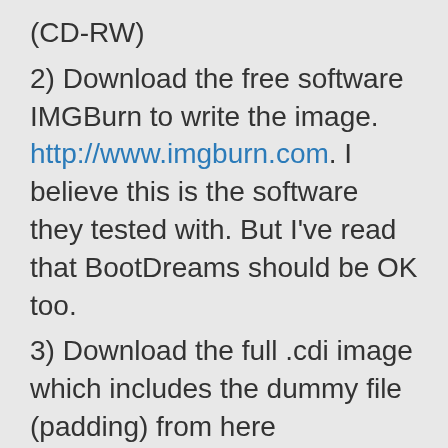(CD-RW)
2) Download the free software IMGBurn to write the image. http://www.imgburn.com. I believe this is the software they tested with. But I've read that BootDreams should be OK too.
3) Download the full .cdi image which includes the dummy file (padding) from here http://dreamcast-talk.com/forum/viewtopic.php?p=83933#p83898. When unzipped this volgarrbig.cdi